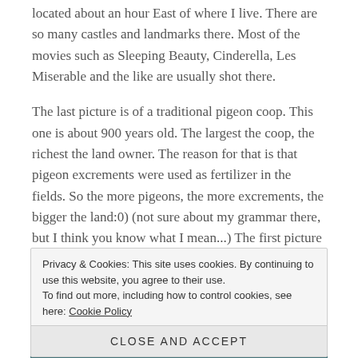located about an hour East of where I live. There are so many castles and landmarks there. Most of the movies such as Sleeping Beauty, Cinderella, Les Miserable and the like are usually shot there.
The last picture is of a traditional pigeon coop. This one is about 900 years old. The largest the coop, the richest the land owner. The reason for that is that pigeon excrements were used as fertilizer in the fields. So the more pigeons, the more excrements, the bigger the land:0) (not sure about my grammar there, but I think you know what I mean...) The first picture is of “Les
Privacy & Cookies: This site uses cookies. By continuing to use this website, you agree to their use.
To find out more, including how to control cookies, see here: Cookie Policy
Close and accept
[Figure (photo): Bottom strip showing a landscape photo, partially visible]